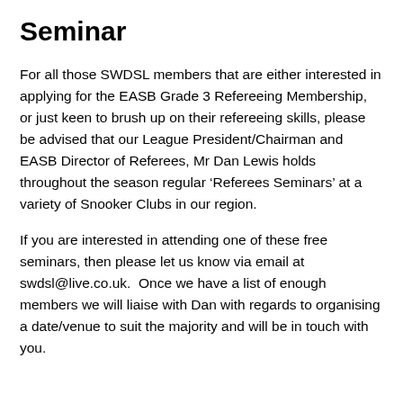Seminar
For all those SWDSL members that are either interested in applying for the EASB Grade 3 Refereeing Membership, or just keen to brush up on their refereeing skills, please be advised that our League President/Chairman and EASB Director of Referees, Mr Dan Lewis holds throughout the season regular ‘Referees Seminars’ at a variety of Snooker Clubs in our region.
If you are interested in attending one of these free seminars, then please let us know via email at swdsl@live.co.uk.  Once we have a list of enough members we will liaise with Dan with regards to organising a date/venue to suit the majority and will be in touch with you.